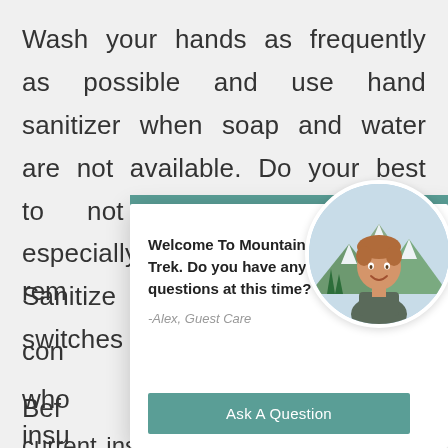Wash your hands as frequently as possible and use hand sanitizer when soap and water are not available. Do your best to not touch your face, especially your nose and mouth. Sanitize the door knobs, switches and rem... con... who...
[Figure (screenshot): A chat widget popup overlay showing a welcome message from Mountain Trek with a photo of a smiling man (Alex, Guest Care) and an 'Ask A Question' button. The widget has a teal header bar and appears over background article text about hand hygiene.]
Bef... insu... current insurance provider or a 3rd party